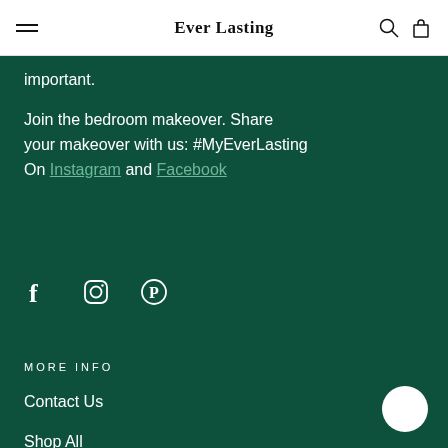Ever Lasting
important.
Join the bedroom makeover. Share your makeover with us: #MyEverLasting On Instagram and Facebook
[Figure (other): Social media icons: Facebook, Instagram, Pinterest]
MORE INFO
Contact Us
Shop All
FAQs
Size + Care Guide